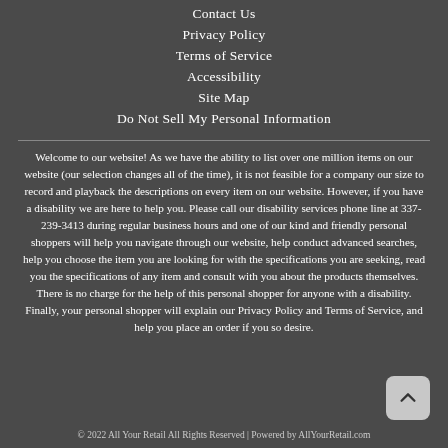Contact Us
Privacy Policy
Terms of Service
Accessibility
Site Map
Do Not Sell My Personal Information
Welcome to our website! As we have the ability to list over one million items on our website (our selection changes all of the time), it is not feasible for a company our size to record and playback the descriptions on every item on our website. However, if you have a disability we are here to help you. Please call our disability services phone line at 337-239-3413 during regular business hours and one of our kind and friendly personal shoppers will help you navigate through our website, help conduct advanced searches, help you choose the item you are looking for with the specifications you are seeking, read you the specifications of any item and consult with you about the products themselves. There is no charge for the help of this personal shopper for anyone with a disability. Finally, your personal shopper will explain our Privacy Policy and Terms of Service, and help you place an order if you so desire.
© 2022 All Your Retail All Rights Reserved | Powered by AllYourRetail.com